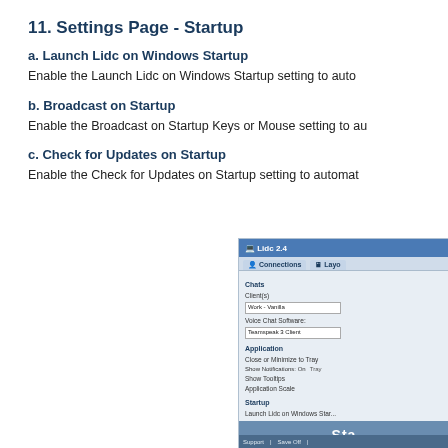11. Settings Page - Startup
a. Launch Lidc on Windows Startup
Enable the Launch Lidc on Windows Startup setting to auto
b. Broadcast on Startup
Enable the Broadcast on Startup Keys or Mouse setting to au
c. Check for Updates on Startup
Enable the Check for Updates on Startup setting to automat
[Figure (screenshot): Screenshot of Lidc 2.4 application Settings page showing Startup section with options: Launch Lidc on Windows Startup, Broadcast on Startup (Keys), Check for Updates on Startup. Footer shows Support and Save Off buttons and 'Sta' text.]